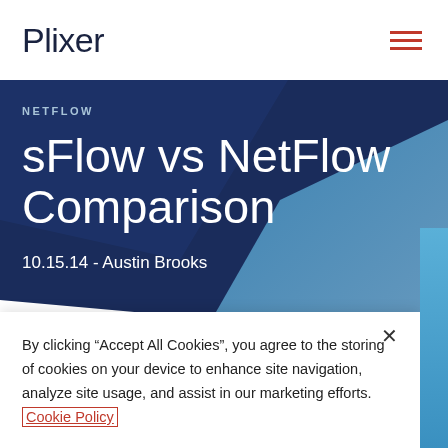Plixer
NETFLOW
sFlow vs NetFlow Comparison
10.15.14 - Austin Brooks
By clicking “Accept All Cookies”, you agree to the storing of cookies on your device to enhance site navigation, analyze site usage, and assist in our marketing efforts. Cookie Policy